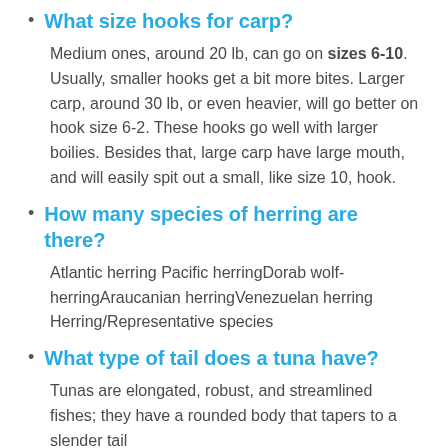What size hooks for carp?
Medium ones, around 20 lb, can go on sizes 6-10. Usually, smaller hooks get a bit more bites. Larger carp, around 30 lb, or even heavier, will go better on hook size 6-2. These hooks go well with larger boilies. Besides that, large carp have large mouth, and will easily spit out a small, like size 10, hook.
How many species of herring are there?
Atlantic herring Pacific herringDorab wolf-herringAraucanian herringVenezuelan herring Herring/Representative species
What type of tail does a tuna have?
Tunas are elongated, robust, and streamlined fishes; they have a rounded body that tapers to a slender tail